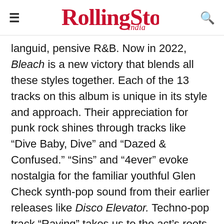Rolling Stone India
languid, pensive R&B. Now in 2022, Bleach is a new victory that blends all these styles together. Each of the 13 tracks on this album is unique in its style and approach. Their appreciation for punk rock shines through tracks like “Dive Baby, Dive” and “Dazed & Confused.” “Sins” and “4ever” evoke nostalgia for the familiar youthful Glen Check synth-pop sound from their earlier releases like Disco Elevator. Techno-pop track “Raving” takes us to the act’s roots in the underground club subculture of Seoul. Bleach is a celebration of all that Glen Check is. “We tried to have little bits of what we’ve done in the past in this album,” Kang says. “It’s kind of like a ‘best of’ album…